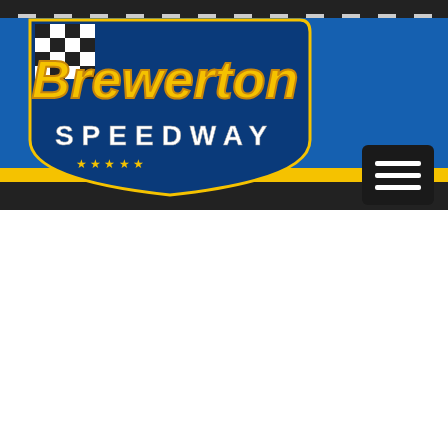[Figure (logo): Brewerton Speedway logo on blue banner with checkered flag design and yellow stripe]
[Figure (screenshot): QUICKSILVER advertisement banner with engine image. Text: QUICKSILVER. Fair, Fun & Affordable Performance. LEARN MORE button.]
ALL 2014 EVENTS
2014
No Events